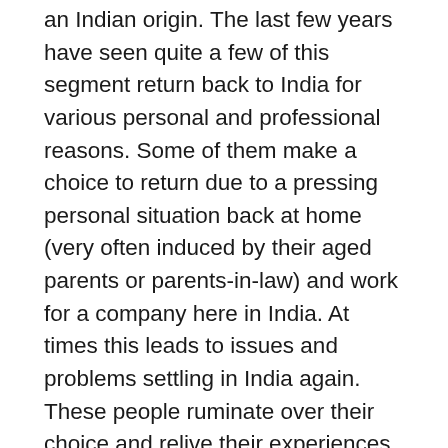an Indian origin. The last few years have seen quite a few of this segment return back to India for various personal and professional reasons. Some of them make a choice to return due to a pressing personal situation back at home (very often induced by their aged parents or parents-in-law) and work for a company here in India. At times this leads to issues and problems settling in India again. These people ruminate over their choice and relive their experiences and life in the West (mostly the United States of America) through their memories. One physical way of doing this is by looking through the pictures/photos they have of their life in the West. Another is to look at the lives of their friends through a combination of pictures, text, videos, friends' reactions to these found on Facebook, in order to still be an active part of their lives. Facebook (or an equal social